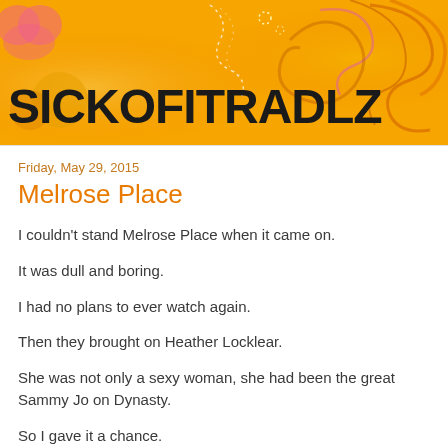[Figure (illustration): Orange and yellow decorative banner with swirling floral/scroll patterns in pink, orange, and white. Blog header image.]
SICKOFITRADLZ
Friday, May 29, 2015
Melrose Place
I couldn't stand Melrose Place when it came on.
It was dull and boring.
I had no plans to ever watch again.
Then they brought on Heather Locklear.
She was not only a sexy woman, she had been the great Sammy Jo on Dynasty.
So I gave it a chance.